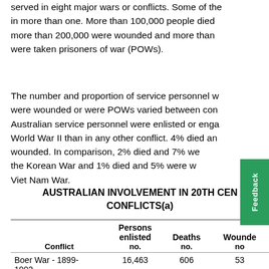served in eight major wars or conflicts. Some of the served in more than one. More than 100,000 people died more than 200,000 were wounded and more than were taken prisoners of war (POWs).
The number and proportion of service personnel who were wounded or were POWs varied between conflicts. Australian service personnel were enlisted or engaged in World War II than in any other conflict. 4% died and were wounded. In comparison, 2% died and 7% were in the Korean War and 1% died and 5% were wounded in the Viet Nam War.
AUSTRALIAN INVOLVEMENT IN 20TH CENTURY CONFLICTS(a)
| Conflict | Persons enlisted no. | Deaths no. | Wounded no. |
| --- | --- | --- | --- |
| Boer War - 1899-1902 | 16,463 | 606 | 53 |